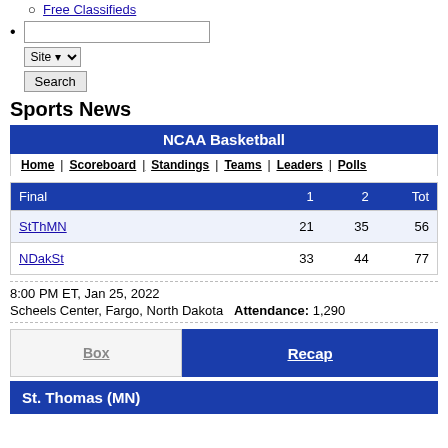Free Classifieds
Search input, Site dropdown, Search button
Sports News
| NCAA Basketball |  |  |  |
| --- | --- | --- | --- |
| Final | 1 | 2 | Tot |
| StThMN | 21 | 35 | 56 |
| NDakSt | 33 | 44 | 77 |
8:00 PM ET, Jan 25, 2022
Scheels Center, Fargo, North Dakota  Attendance: 1,290
Box | Recap
St. Thomas (MN)